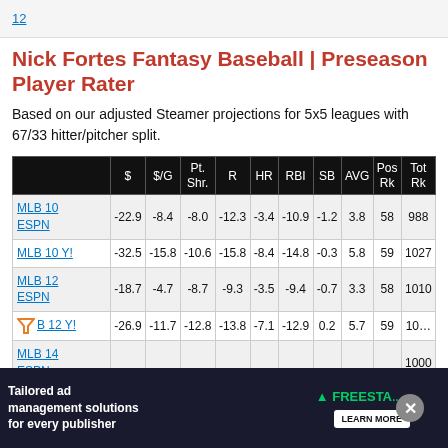12
Nick Fortes Fantasy Baseball | Preseason Player Rater
Based on our adjusted Steamer projections for 5x5 leagues with 67/33 hitter/pitcher split.
|  | $ | $/G | Pt. Shr. | R | HR | RBI | SB | AVG | Pos Rk | Tot Rk |
| --- | --- | --- | --- | --- | --- | --- | --- | --- | --- | --- |
| MLB 10 ESPN | -22.9 | -8.4 | -8.0 | -12.3 | -3.4 | -10.9 | -1.2 | 3.8 | 58 | 988 |
| MLB 10 Y! | -32.5 | -15.8 | -10.6 | -15.8 | -8.4 | -14.8 | -0.3 | 5.8 | 59 | 1027 |
| MLB 12 ESPN | -18.7 | -4.7 | -8.7 | -9.3 | -3.5 | -9.4 | -0.7 | 3.3 | 58 | 1010 |
| MLB 12 Y! | -26.9 | -11.7 | -12.8 | -13.8 | -7.1 | -12.9 | 0.2 | 5.7 | 59 | 10… |
| MLB 14 ESPN | … | … | … | … | … | … | … | … | … | 1000 |